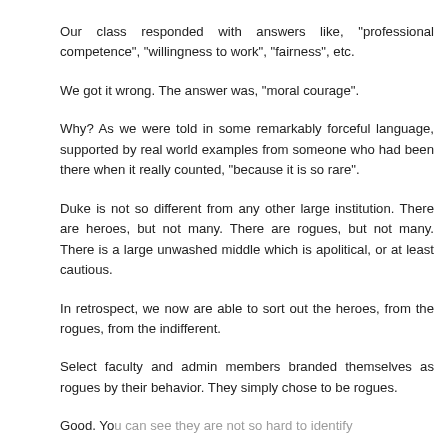Our class responded with answers like, "professional competence", "willingness to work", "fairness", etc.
We got it wrong. The answer was, "moral courage".
Why? As we were told in some remarkably forceful language, supported by real world examples from someone who had been there when it really counted, "because it is so rare".
Duke is not so different from any other large institution. There are heroes, but not many. There are rogues, but not many. There is a large unwashed middle which is apolitical, or at least cautious.
In retrospect, we now are able to sort out the heroes, from the rogues, from the indifferent.
Select faculty and admin members branded themselves as rogues by their behavior. They simply chose to be rogues.
Good. You can see they are not so hard to identify.